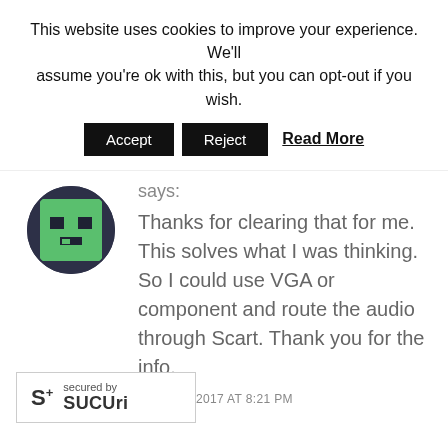This website uses cookies to improve your experience. We'll assume you're ok with this, but you can opt-out if you wish.
Accept | Reject | Read More
[Figure (illustration): Pixel art avatar of a green Minecraft-style character face with dark eyes and a simple expression, circular crop with dark border]
says:
Thanks for clearing that for me. This solves what I was thinking. So I could use VGA or component and route the audio through Scart. Thank you for the info.
JUNE 12, 2017 AT 8:21 PM
REPLY
[Figure (logo): Sucuri security badge with S+ logo and 'secured by Sucuri' text]